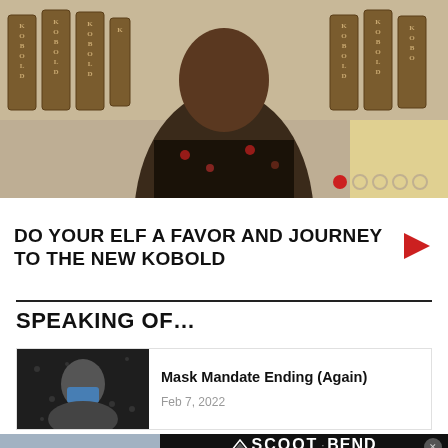[Figure (photo): Person standing in front of multiple wooden KOBOLD signs arranged vertically, wearing a floral shirt. Carousel navigation dots visible at bottom right.]
DO YOUR ELF A FAVOR AND JOURNEY TO THE NEW KOBOLD
SPEAKING OF…
[Figure (photo): Article thumbnail showing dark image related to Mask Mandate Ending (Again) story dated Feb 7, 2022]
Mask Mandate Ending (Again)
Feb 7, 2022
[Figure (photo): Advertisement for Scoot Bend Electric Moped Rental showing mopeds and riders on left, black panel with logo, tagline, phone number 541-797-9017, info@scootbend.com, scootbend.com]